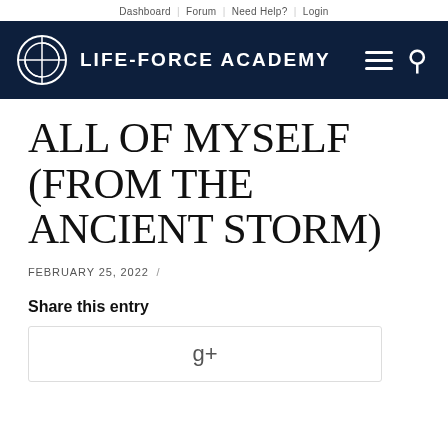Dashboard | Forum | Need Help? | Login
[Figure (logo): Life-Force Academy logo with circular emblem and text on dark navy background]
ALL OF MYSELF (FROM THE ANCIENT STORM)
FEBRUARY 25, 2022 /
Share this entry
[Figure (other): Google+ share button box with g+ icon]